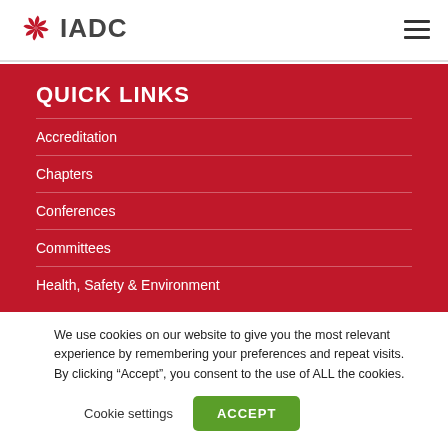IADC
QUICK LINKS
Accreditation
Chapters
Conferences
Committees
Health, Safety & Environment
We use cookies on our website to give you the most relevant experience by remembering your preferences and repeat visits. By clicking “Accept”, you consent to the use of ALL the cookies.
Cookie settings   ACCEPT